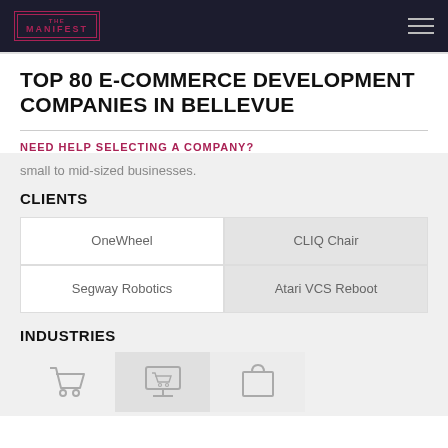[Figure (logo): The Manifest logo in top navigation bar]
TOP 80 E-COMMERCE DEVELOPMENT COMPANIES IN BELLEVUE
NEED HELP SELECTING A COMPANY?
small to mid-sized businesses.
CLIENTS
| OneWheel | CLIQ Chair |
| Segway Robotics | Atari VCS Reboot |
INDUSTRIES
[Figure (illustration): Three industry icons: shopping cart, computer with cart, and shopping bag]